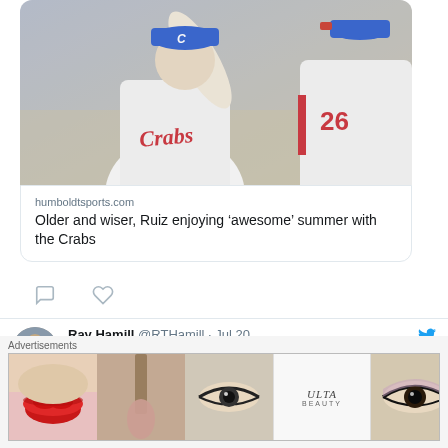[Figure (photo): Two baseball players in white Crabs uniforms high-fiving, wearing blue caps with C logo]
humboldtsports.com
Older and wiser, Ruiz enjoying ‘awesome’ summer with the Crabs
[Figure (screenshot): Twitter/X tweet by Ray Hamill @RTHamill · Jul 20 with link humboldtsports.com/2022/07/20/mac...]
[Figure (photo): Advertisement banner showing Ulta Beauty cosmetics ad with SHOP NOW call to action]